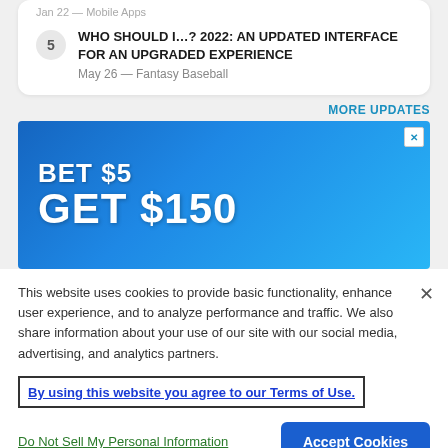Jan 22 — Mobile Apps
5 — WHO SHOULD I…? 2022: AN UPDATED INTERFACE FOR AN UPGRADED EXPERIENCE — May 26 — Fantasy Baseball
MORE UPDATES
[Figure (photo): Advertisement banner: blue background with text 'BET $5 GET $150' and a close button]
This website uses cookies to provide basic functionality, enhance user experience, and to analyze performance and traffic. We also share information about your use of our site with our social media, advertising, and analytics partners.
By using this website you agree to our Terms of Use.
Do Not Sell My Personal Information
Accept Cookies